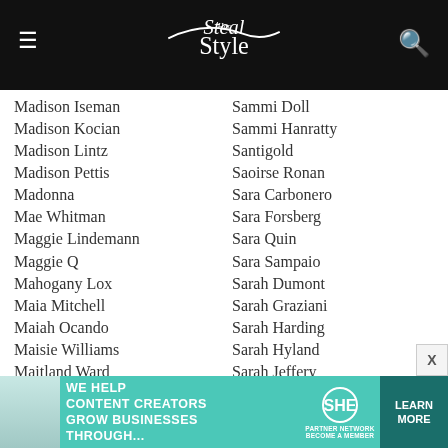Steal Her Style
Madison Iseman
Madison Kocian
Madison Lintz
Madison Pettis
Madonna
Mae Whitman
Maggie Lindemann
Maggie Q
Mahogany Lox
Maia Mitchell
Maiah Ocando
Maisie Williams
Maitland Ward
Maja Ivarsson
Makenzie Moss
Malin Akerman
Malu Trevejo
Mandy Lee
Mandy Moore
Sammi Doll
Sammi Hanratty
Santigold
Saoirse Ronan
Sara Carbonero
Sara Forsberg
Sara Quin
Sara Sampaio
Sarah Dumont
Sarah Graziani
Sarah Harding
Sarah Hyland
Sarah Jeffery
Sarah Paulson
Sarah Snyder
Sarai Jones
Sasha Lane
Sasha Pieterse
Saweetie
[Figure (screenshot): Advertisement banner for SHE Media Partner Network: We help content creators grow businesses through... Learn More button]